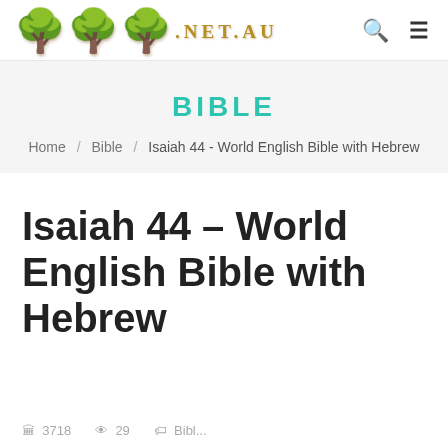ARK.NET.AU
BIBLE
Home / Bible / Isaiah 44 - World English Bible with Hebrew
Isaiah 44 – World English Bible with Hebrew